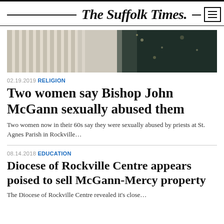The Suffolk Times.
[Figure (photo): Exterior photo of a building with columns on the left and dark foliage/trees on the right]
02.19.2019 RELIGION
Two women say Bishop John McGann sexually abused them
Two women now in their 60s say they were sexually abused by priests at St. Agnes Parish in Rockville...
08.14.2018 EDUCATION
Diocese of Rockville Centre appears poised to sell McGann-Mercy property
The Diocese of Rockville Centre revealed it's close...